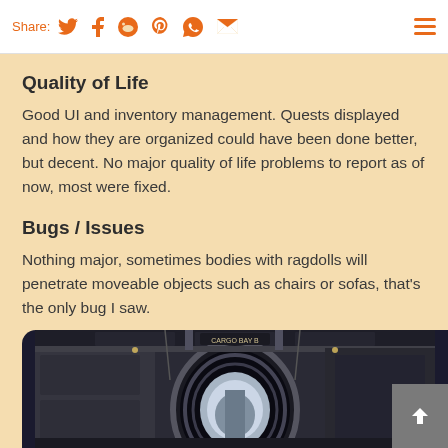Share: [twitter] [facebook] [reddit] [pinterest] [whatsapp] [email]
Quality of Life
Good UI and inventory management. Quests displayed and how they are organized could have been done better, but decent. No major quality of life problems to report as of now, most were fixed.
Bugs / Issues
Nothing major, sometimes bodies with ragdolls will penetrate moveable objects such as chairs or sofas, that’s the only bug I saw.
[Figure (screenshot): In-game screenshot showing a sci-fi interior environment with a circular doorway/airlock and industrial surroundings]